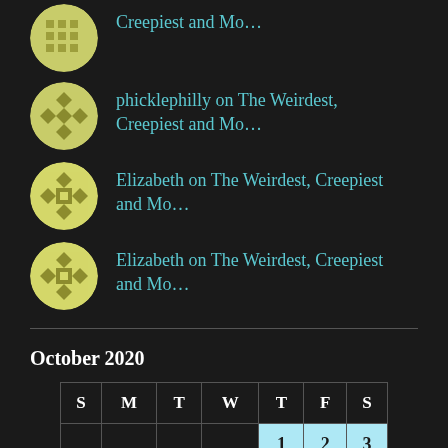Creepiest and Mo…
phicklephilly on The Weirdest, Creepiest and Mo…
Elizabeth on The Weirdest, Creepiest and Mo…
Elizabeth on The Weirdest, Creepiest and Mo…
October 2020
| S | M | T | W | T | F | S |
| --- | --- | --- | --- | --- | --- | --- |
|  |  |  |  | 1 | 2 | 3 |